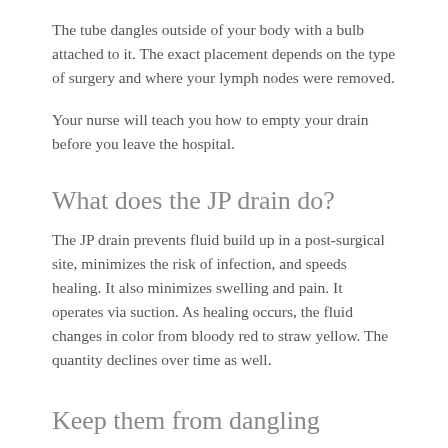The tube dangles outside of your body with a bulb attached to it. The exact placement depends on the type of surgery and where your lymph nodes were removed.
Your nurse will teach you how to empty your drain before you leave the hospital.
What does the JP drain do?
The JP drain prevents fluid build up in a post-surgical site, minimizes the risk of infection, and speeds healing. It also minimizes swelling and pain. It operates via suction. As healing occurs, the fluid changes in color from bloody red to straw yellow. The quantity declines over time as well.
Keep them from dangling